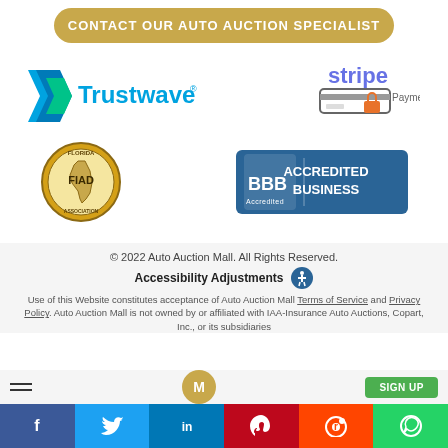CONTACT OUR AUTO AUCTION SPECIALIST
[Figure (logo): Trustwave logo with blue chevron/arrow icon and teal/blue wordmark with registered trademark symbol]
[Figure (logo): Stripe Payment logo with purple stripe wordmark and credit card with lock icon below]
[Figure (logo): FIAD circular gold seal/emblem with Florida state outline]
[Figure (logo): BBB Accredited Business badge - blue background with white BBB logo and text ACCREDITED BUSINESS]
© 2022 Auto Auction Mall. All Rights Reserved.
Accessibility Adjustments
Use of this Website constitutes acceptance of Auto Auction Mall Terms of Service and Privacy Policy. Auto Auction Mall is not owned by or affiliated with IAA-Insurance Auto Auctions, Copart, Inc., or its subsidiaries